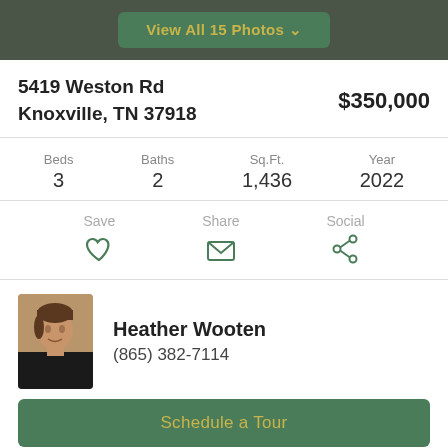View All 15 Photos
5419 Weston Rd
Knoxville, TN 37918
$350,000
| Beds | Baths | Sq.Ft. | Year |
| --- | --- | --- | --- |
| 3 | 2 | 1,436 | 2022 |
Save | Share | Social
[Figure (photo): Agent photo of Heather Wooten]
Heather Wooten
(865) 382-7114
Schedule a Tour
Ask a Question